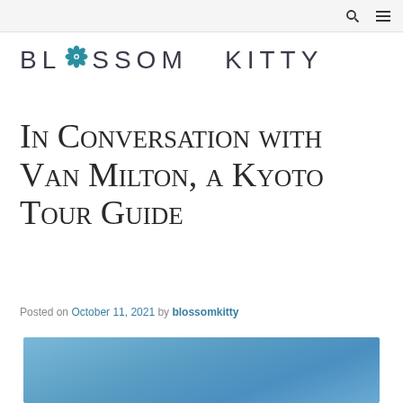Blossom Kitty — navigation bar with search and menu icons
[Figure (logo): Blossom Kitty logo: stylized text 'BLOSSOM KITTY' with a teal flower icon replacing the letter O in BLOSSOM]
In Conversation with Van Milton, a Kyoto Tour Guide
Posted on October 11, 2021 by blossomkitty
[Figure (photo): Blue sky photo, partially visible at bottom of page]